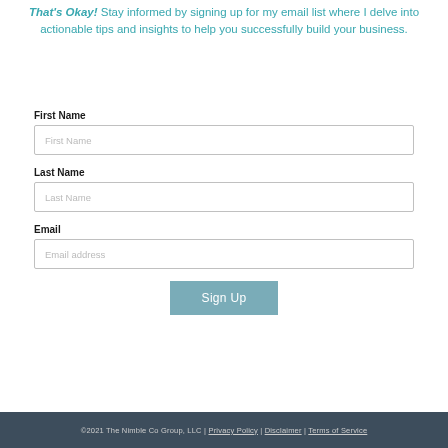That's Okay! Stay informed by signing up for my email list where I delve into actionable tips and insights to help you successfully build your business.
First Name
Last Name
Email
Sign Up
©2021 The Nimble Co Group, LLC | Privacy Policy | Disclaimer | Terms of Service